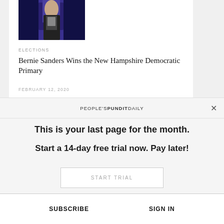[Figure (photo): Partial photo of a person in a dark suit at a podium, with blue/purple stage lighting, cropped at the top]
ELECTIONS
Bernie Sanders Wins the New Hampshire Democratic Primary
FEBRUARY 12, 2020
PEOPLE'S PUNDIT DAILY
This is your last page for the month.
Start a 14-day free trial now. Pay later!
START TRIAL
SUBSCRIBE  SIGN IN